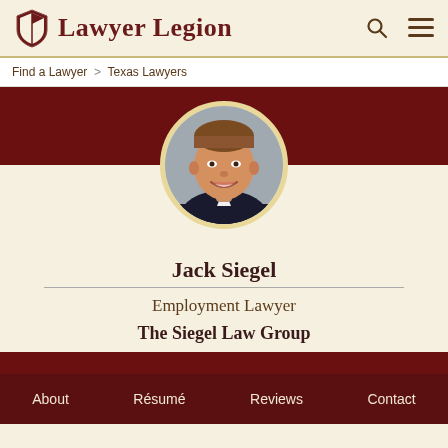Lawyer Legion
Find a Lawyer > Texas Lawyers
[Figure (photo): Circular profile photo of Jack Siegel, a young man in a suit, smiling, with short brown hair, against a grey background]
Jack Siegel
Employment Lawyer
The Siegel Law Group
About   Résumé   Reviews   Contact